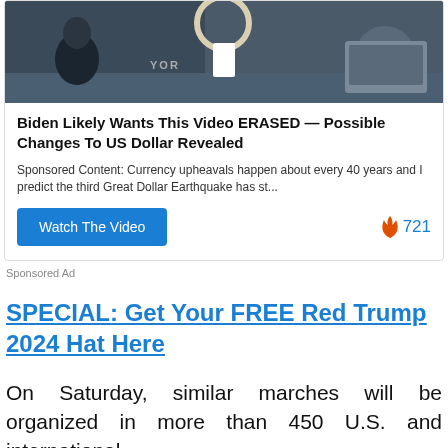[Figure (photo): Screenshot of a TV studio or news desk scene with two people seated at a desk. A circular lamp or ring light is visible overhead, a white cup on the desk, a laptop or tablet on the right, and partial text 'YOR' visible in the background.]
Biden Likely Wants This Video ERASED — Possible Changes To US Dollar Revealed
Sponsored Content: Currency upheavals happen about every 40 years and I predict the third Great Dollar Earthquake has st...
Watch The Video
🔥 721
Sponsored Ad
SPECIAL: Get Your FREE Red Trump 2024 Hat Here
On Saturday, similar marches will be organized in more than 450 U.S. and international